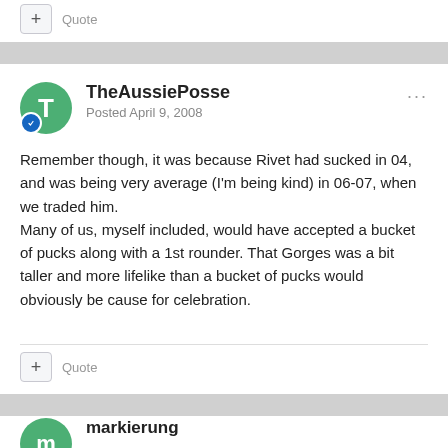+ Quote
TheAussiePosse
Posted April 9, 2008
Remember though, it was because Rivet had sucked in 04, and was being very average (I'm being kind) in 06-07, when we traded him.
Many of us, myself included, would have accepted a bucket of pucks along with a 1st rounder. That Gorges was a bit taller and more lifelike than a bucket of pucks would obviously be cause for celebration.
+ Quote
markierung